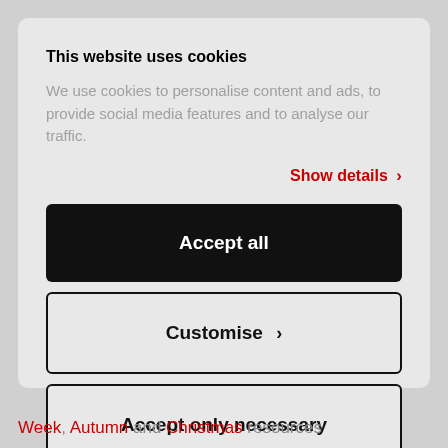This website uses cookies
We use cookies to personalise content and ads, to provide social media features and to analyse our traffic.
Show details ›
Accept all
Customise ›
Accept only necessary
Week, Autumn and Christmas resources